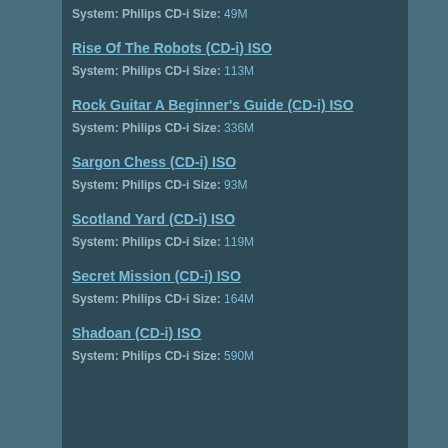System: Philips CD-i Size: 49M
Rise Of The Robots (CD-i) ISO
System: Philips CD-i Size: 113M
Rock Guitar A Beginner's Guide (CD-i) ISO
System: Philips CD-i Size: 336M
Sargon Chess (CD-i) ISO
System: Philips CD-i Size: 93M
Scotland Yard (CD-i) ISO
System: Philips CD-i Size: 119M
Secret Mission (CD-i) ISO
System: Philips CD-i Size: 164M
Shadoan (CD-i) ISO
System: Philips CD-i Size: 590M